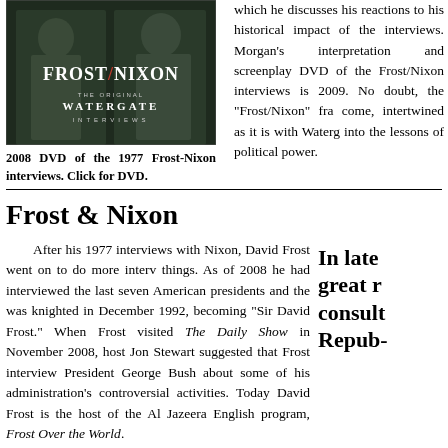[Figure (photo): 2008 DVD cover of the 1977 Frost-Nixon interviews, showing 'FROST/NIXON THE ORIGINAL WATERGATE INTERVIEWS' text on a dark background with two figures in suits]
2008 DVD of the 1977 Frost-Nixon interviews. Click for DVD.
which he discusses his reactions to his historical impact of the interviews. Morgan's interpretation and screenplay DVD of the Frost/Nixon interviews is 2009. No doubt, the "Frost/Nixon" fra come, intertwined as it is with Waterg into the lessons of political power.
Frost & Nixon
After his 1977 interviews with Nixon, David Frost went on to do more interv things. As of 2008 he had interviewed the last seven American presidents and the was knighted in December 1992, becoming "Sir David Frost." When Frost visited The Daily Show in November 2008, host Jon Stewart suggested that Frost interview President George Bush about some of his administration's controversial activities. Today David Frost is the host of the Al Jazeera English program, Frost Over the World.
In late great r consult Repub-
Richard Nixon, on the other hand, lost his political career and was disbarred from legal practice in New York, and he resigned from legal practice elsewhere. But Nixon didn't fade completely from the limelight. In fact, h later life and maintained a routine of speaking, writing, and travel. In subsequent y journalists, book reviewers, and policy analysts. On occasion, he met with fore Minister Yasuhiro Nakasone in Japan, Chinese leader Deng Xiaoping in China, a Union. Despite his historic failings, Nixon gained great respect in foreign affairs, co alike in later years. Libraries and institutes were opened in his name, including